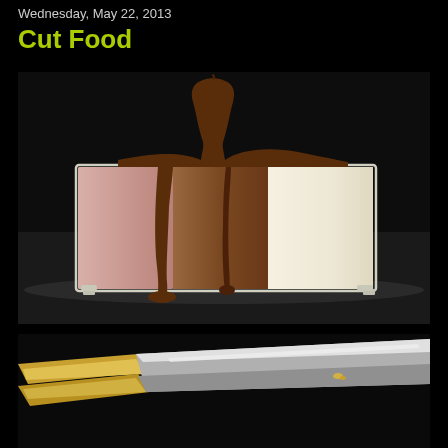Wednesday, May 22, 2013
Cut Food
[Figure (photo): Cross-section of Neapolitan ice cream (strawberry, chocolate, vanilla) in a white metal container with chocolate sauce drizzled over the top, dripping down the front. Dark background.]
[Figure (photo): Gold-handled kitchen knife with white/silver blade on dark background, partially visible at bottom of page.]